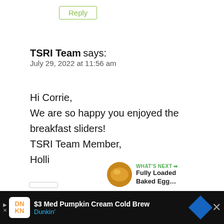[Figure (screenshot): Reply button (partially cropped at top)]
TSRI Team says:
July 29, 2022 at 11:56 am
Hi Corrie,
We are so happy you enjoyed the breakfast sliders!
TSRI Team Member,
Holli
[Figure (other): Green heart/like button showing 238 likes, and a share button]
[Figure (other): WHAT'S NEXT arrow — Fully Loaded Baked Egg... with food thumbnail]
[Figure (screenshot): Ad bar: DN KN Dunkin logo, $3 Med Pumpkin Cream Cold Brew, Dunkin', navigation diamond icon, close X button]